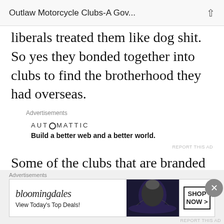Outlaw Motorcycle Clubs-A Gov...
liberals treated them like dog shit. So yes they bonded together into clubs to find the brotherhood they had overseas.
Advertisements
[Figure (infographic): Automattic advertisement: logo text 'AUTOMATTIC' and tagline 'Build a better web and a better world.']
Some of the clubs that are branded OMG have been around since WW2 and before. Some of the biggest ones have had hundreds if not thousands wear the club patch. Yes
Advertisements
[Figure (infographic): Bloomingdale's advertisement: logo, woman with hat, 'View Today's Top Deals!', 'SHOP NOW >' button]